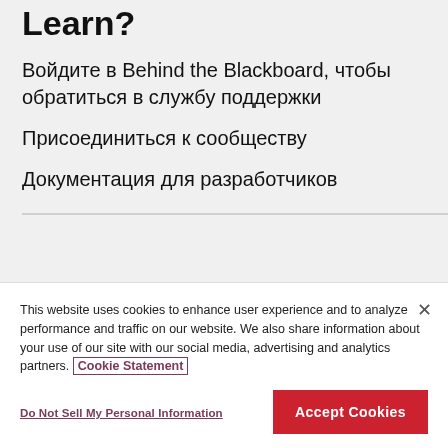Learn?
Войдите в Behind the Blackboard, чтобы обратиться в службу поддержки
Присоединиться к сообществу
Документация для разработчиков
This website uses cookies to enhance user experience and to analyze performance and traffic on our website. We also share information about your use of our site with our social media, advertising and analytics partners. Cookie Statement
Do Not Sell My Personal Information
Accept Cookies